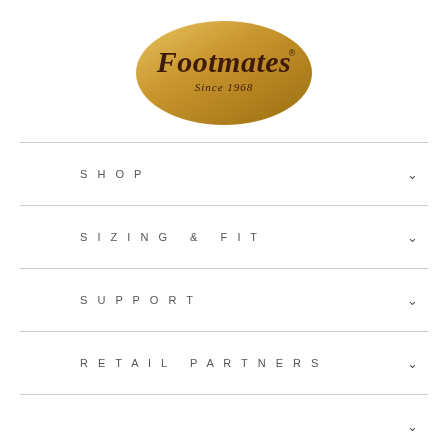[Figure (logo): Footmates logo - gold oval with script text 'Footmates' and 'Since 1968' underneath]
SHOP
SIZING & FIT
SUPPORT
RETAIL PARTNERS